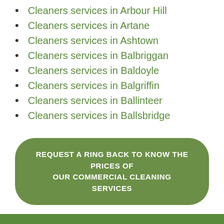Cleaners services in Arbour Hill
Cleaners services in Artane
Cleaners services in Ashtown
Cleaners services in Balbriggan
Cleaners services in Baldoyle
Cleaners services in Balgriffin
Cleaners services in Ballinteer
Cleaners services in Ballsbridge
REQUEST A RING BACK TO KNOW THE PRICES OF OUR COMMERCIAL CLEANING SERVICES
Commercial cleaning